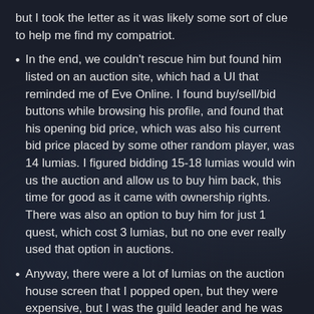but I took the letter as it was likely some sort of clue to help me find my compatriot.
In the end, we couldn't rescue him but found him listed on an auction site, which had a UI that reminded me of Eve Online. I found buy/sell/bid buttons while browsing his profile, and found that his opening bid price, which was also his current bid price placed by some other random player, was 14 lumias. I figured bidding 15-18 lumias would win us the auction and allow us to buy him back, this time for good as it came with ownership rights. There was also an option to buy him for just 1 quest, which cost 3 lumias, but no one ever really used that option in auctions.
Anyway, there were a lot of lumias on the auction house screen that I popped open, but they were expensive, but I was the guild leader and he was well-liked, so I considered putting out a call to the guild for